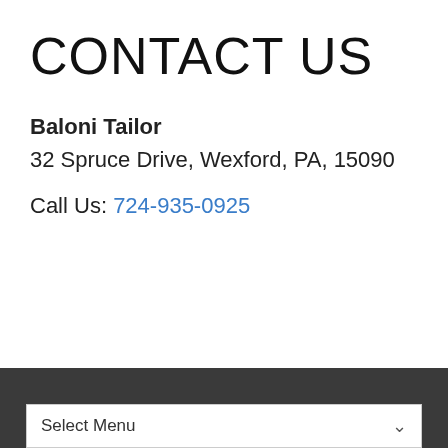CONTACT US
Baloni Tailor
32 Spruce Drive, Wexford, PA, 15090
Call Us: 724-935-0925
Select Menu